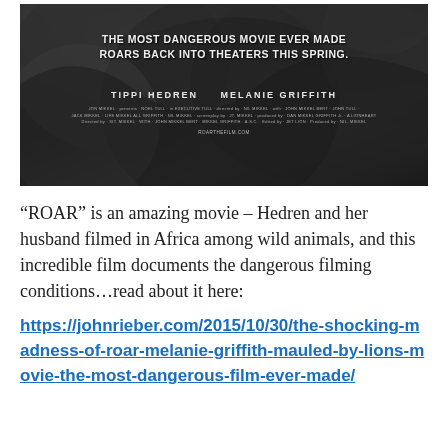[Figure (photo): Movie poster for ROAR in black and white, showing animals (lions) close up. Text reads: THE MOST DANGEROUS MOVIE EVER MADE ROARS BACK INTO THEATERS THIS SPRING. Stars listed: TIPPI HEDREN  MELANIE GRIFFITH. Credits and website shown at bottom.]
“ROAR” is an amazing movie – Hedren and her husband filmed in Africa among wild animals, and this incredible film documents the dangerous filming conditions…read about it here:
https://johnrieber.com/2015/10/30/the-shocking-madness-of-roar-melanie-griffith-mauled-by-lions-movie-the-most-dangerous-film-ever-made/